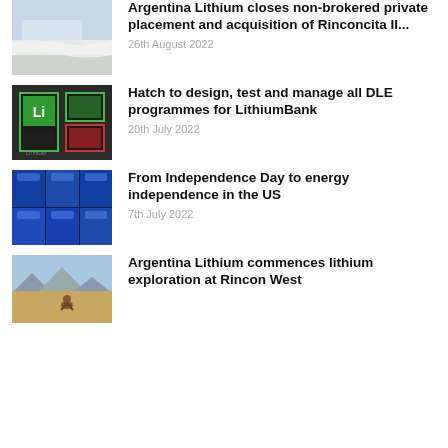[Figure (photo): Snowy/icy landscape photo thumbnail]
Argentina Lithium closes non-brokered private placement and acquisition of Rinconcita II...
26th August 2022
[Figure (photo): Lithium element periodic table display with green highlighted cells]
Hatch to design, test and manage all DLE programmes for LithiumBank
20th July 2022
[Figure (photo): Blue colored battery cell components macro photo]
From Independence Day to energy independence in the US
7th July 2022
[Figure (photo): Person sitting in arid desert landscape with mountains in background]
Argentina Lithium commences lithium exploration at Rincon West